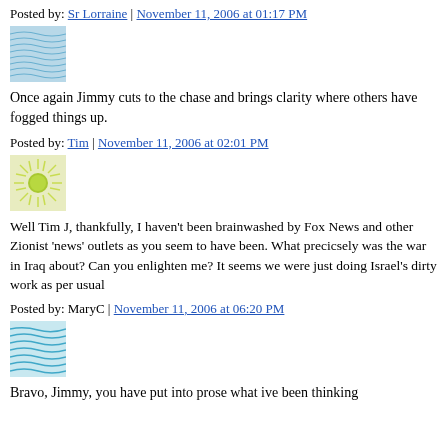Posted by: Sr Lorraine | November 11, 2006 at 01:17 PM
[Figure (illustration): User avatar icon with blue wavy lines pattern]
Once again Jimmy cuts to the chase and brings clarity where others have fogged things up.
Posted by: Tim | November 11, 2006 at 02:01 PM
[Figure (illustration): User avatar icon with green sun/starburst pattern]
Well Tim J, thankfully, I haven't been brainwashed by Fox News and other Zionist 'news' outlets as you seem to have been. What precicsely was the war in Iraq about? Can you enlighten me? It seems we were just doing Israel's dirty work as per usual
Posted by: MaryC | November 11, 2006 at 06:20 PM
[Figure (illustration): User avatar icon with blue and teal wavy lines pattern]
Bravo, Jimmy, you have put into prose what ive been thinking